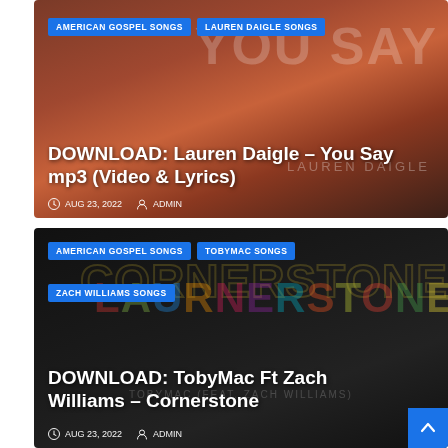[Figure (screenshot): Card 1: Blog post card with brownish-red background showing 'You Say' text art by Lauren Daigle. Tags: AMERICAN GOSPEL SONGS, LAUREN DAIGLE SONGS. Title: DOWNLOAD: Lauren Daigle – You Say mp3 (Video & Lyrics). Date: AUG 23, 2022. Author: ADMIN.]
[Figure (screenshot): Card 2: Blog post card with dark/black background showing 'Cornerstone' colorful text art. Tags: AMERICAN GOSPEL SONGS, TOBYMAC SONGS, ZACH WILLIAMS SONGS. Title: DOWNLOAD: TobyMac Ft Zach Williams – Cornerstone. Date: AUG 23, 2022. Author: ADMIN. Back to top button in bottom right.]